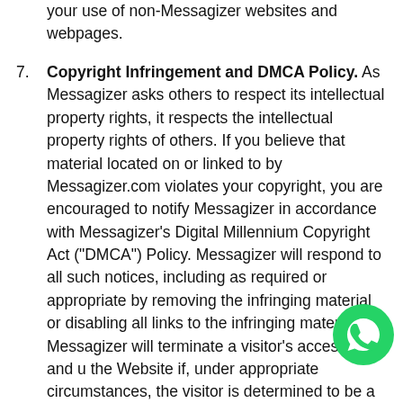your use of non-Messagizer websites and webpages.
Copyright Infringement and DMCA Policy. As Messagizer asks others to respect its intellectual property rights, it respects the intellectual property rights of others. If you believe that material located on or linked to by Messagizer.com violates your copyright, you are encouraged to notify Messagizer in accordance with Messagizer’s Digital Millennium Copyright Act (“DMCA”) Policy. Messagizer will respond to all such notices, including as required or appropriate by removing the infringing material or disabling all links to the infringing material. Messagizer will terminate a visitor’s access to and u the Website if, under appropriate circumstances, the visitor is determined to be a repeat infringer of the copyrights or other
[Figure (logo): WhatsApp phone icon — green circle with white phone handset]